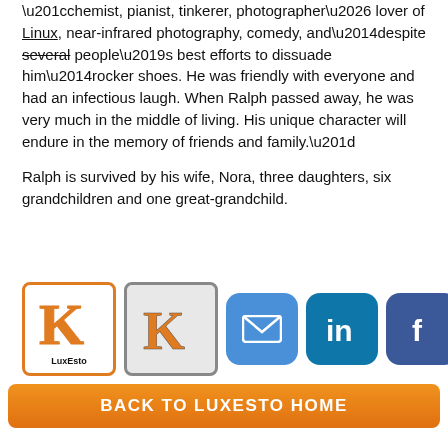“chemist, pianist, tinkerer, photographer… lover of Linux, near-infrared photography, comedy, and—despite several people’s best efforts to dissuade him—rocker shoes. He was friendly with everyone and had an infectious laugh. When Ralph passed away, he was very much in the middle of living. His unique character will endure in the memory of friends and family.”
Ralph is survived by his wife, Nora, three daughters, six grandchildren and one great-grandchild.
[Figure (logo): LuxEsto logo with stylized K in orange border, Kalamazoo Gazette K logo in grey box, email icon, LinkedIn icon, Facebook icon, Twitter icon buttons]
BACK TO LUXESTO HOME